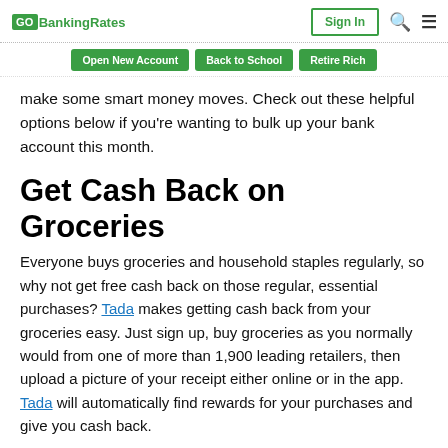GOBankingRates | Sign In
Open New Account | Back to School | Retire Rich
make some smart money moves. Check out these helpful options below if you're wanting to bulk up your bank account this month.
Get Cash Back on Groceries
Everyone buys groceries and household staples regularly, so why not get free cash back on those regular, essential purchases? Tada makes getting cash back from your groceries easy. Just sign up, buy groceries as you normally would from one of more than 1,900 leading retailers, then upload a picture of your receipt either online or in the app. Tada will automatically find rewards for your purchases and give you cash back.